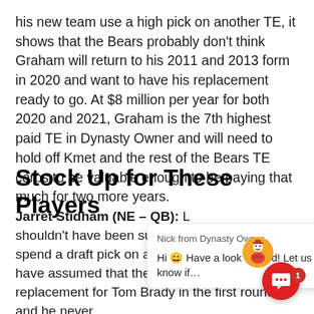his new team use a high pick on another TE, it shows that the Bears probably don't think Graham will return to his 2011 and 2013 form in 2020 and want to have his replacement ready to go. At $8 million per year for both 2020 and 2021, Graham is the 7th highest paid TE in Dynasty Owner and will need to hold off Kmet and the rest of the Bears TE corps to be valuable enough to be paying that much for two more years.
Stock Up for These Players
Jarret Stidham (NE – QB): L shouldn't have been surprised spend a draft pick on a QB that have assumed that the [chat overlay] replacement for Tom Brady in the first round and he never did it. Remember that Jimmy Garoppolo was a late second round pick, Jacoby Brissett was a late third pick and Stidham was a late fourth round pick. Now that